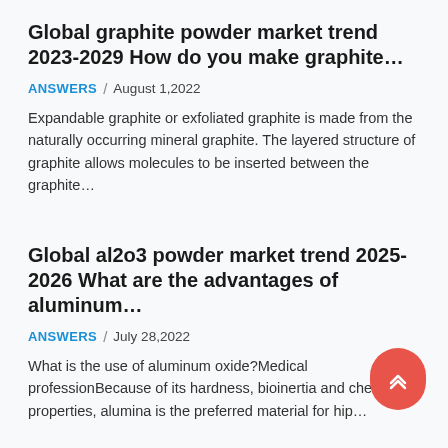Global graphite powder market trend 2023-2029 How do you make graphite...
ANSWERS / August 1,2022
Expandable graphite or exfoliated graphite is made from the naturally occurring mineral graphite. The layered structure of graphite allows molecules to be inserted between the graphite...
Global al2o3 powder market trend 2025-2026 What are the advantages of aluminum...
ANSWERS / July 28,2022
What is the use of aluminum oxide?Medical professionBecause of its hardness, bioinertia and chemical properties, alumina is the preferred material for hip...